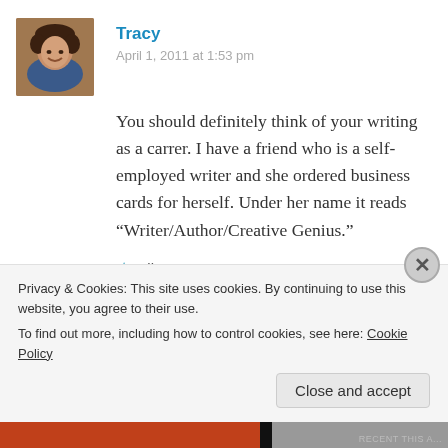[Figure (photo): Profile photo of Tracy, a woman with curly dark hair, smiling, wearing a blue top]
Tracy
April 1, 2011 at 1:53 pm
You should definitely think of your writing as a carrer. I have a friend who is a self-employed writer and she ordered business cards for herself. Under her name it reads “Writer/Author/Creative Genius.”
Like
Reply
Privacy & Cookies: This site uses cookies. By continuing to use this website, you agree to their use. To find out more, including how to control cookies, see here: Cookie Policy
Close and accept